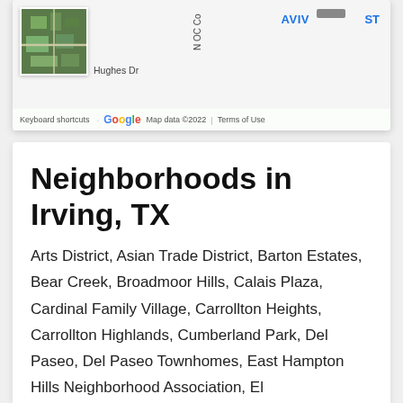[Figure (map): Google Maps snippet showing a street map with a satellite thumbnail inset in the top-left corner. Labels visible include 'AVIV', 'ST', 'Hughes Dr', and 'Google'. Map data ©2022. Keyboard shortcuts and Terms of Use links shown in footer bar.]
Neighborhoods in Irving, TX
Arts District, Asian Trade District, Barton Estates, Bear Creek, Broadmoor Hills, Calais Plaza, Cardinal Family Village, Carrollton Heights, Carrollton Highlands, Cumberland Park, Del Paseo, Del Paseo Townhomes, East Hampton Hills Neighborhood Association, El